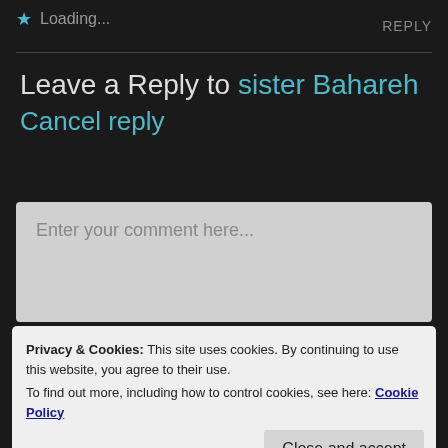★ Loading...
REPLY
Leave a Reply to sister Bahareh
Cancel reply
Enter your comment here...
Privacy & Cookies: This site uses cookies. By continuing to use this website, you agree to their use.
To find out more, including how to control cookies, see here: Cookie Policy
Close and accept